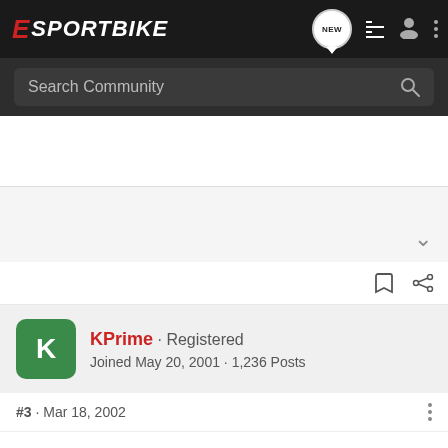E SPORTBIKE — Search Community
[Figure (screenshot): White content area with advertisement/blank space, collapsible chevron icon, and bookmark/share action icons]
KPrime · Registered
Joined May 20, 2001 · 1,236 Posts
#3 · Mar 18, 2002
SWEET... excellent choice in colors and bike! You will love it...
And you will get used to the rock hard seat pretty quick, and I